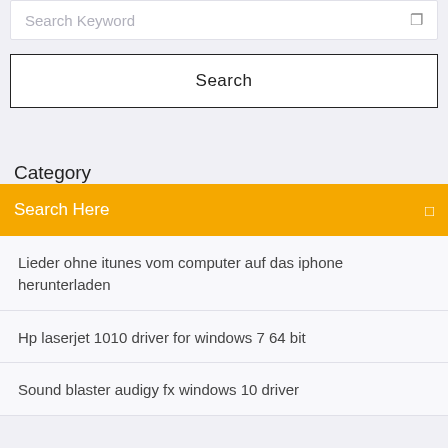Search Keyword
Search
Category
Search Here
Lieder ohne itunes vom computer auf das iphone herunterladen
Hp laserjet 1010 driver for windows 7 64 bit
Sound blaster audigy fx windows 10 driver